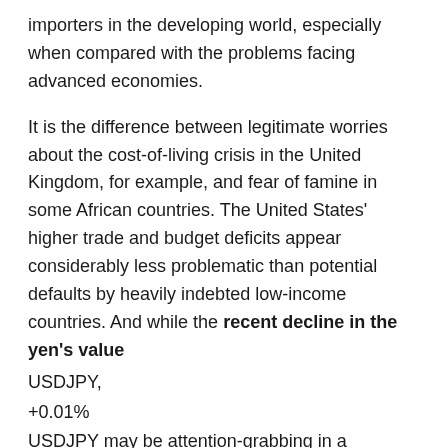importers in the developing world, especially when compared with the problems facing advanced economies.
It is the difference between legitimate worries about the cost-of-living crisis in the United Kingdom, for example, and fear of famine in some African countries. The United States' higher trade and budget deficits appear considerably less problematic than potential defaults by heavily indebted low-income countries. And while the recent decline in the yen's value USDJPY, +0.01% USDJPY may be attention-grabbing in a Japanese context, a disorderly collapse of poorer countries' exchange rates could fuel widespread financial instability.